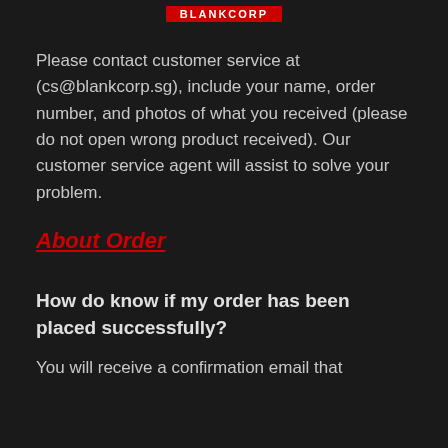BLANKCORP (logo/brand header)
Please contact customer service at (cs@blankcorp.sg), include your name, order number, and photos of what you received (please do not open wrong product received). Our customer service agent will assist to solve your problem.
About Order
How do know if my order has been placed successfully?
You will receive a confirmation email that